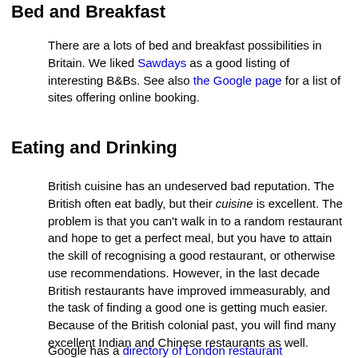Bed and Breakfast
There are a lots of bed and breakfast possibilities in Britain. We liked Sawdays as a good listing of interesting B&Bs. See also the Google page for a list of sites offering online booking.
Eating and Drinking
British cuisine has an undeserved bad reputation. The British often eat badly, but their cuisine is excellent. The problem is that you can't walk in to a random restaurant and hope to get a perfect meal, but you have to attain the skill of recognising a good restaurant, or otherwise use recommendations. However, in the last decade British restaurants have improved immeasurably, and the task of finding a good one is getting much easier. Because of the British colonial past, you will find many excellent Indian and Chinese restaurants as well.
Google has a directory of London restaurant